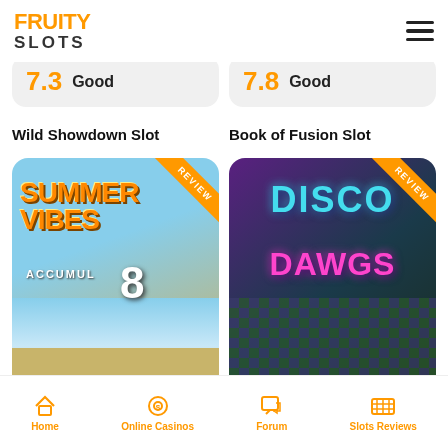Fruity Slots
7.3  Good
7.8  Good
Wild Showdown Slot
Book of Fusion Slot
[Figure (screenshot): Summer Vibes Accumul8 slot game card with Light & Wonder provider badge and REVIEW ribbon]
[Figure (screenshot): Disco Dawgs slot game card with Light & Wonder provider badge and REVIEW ribbon]
Home  Online Casinos  Forum  Slots Reviews